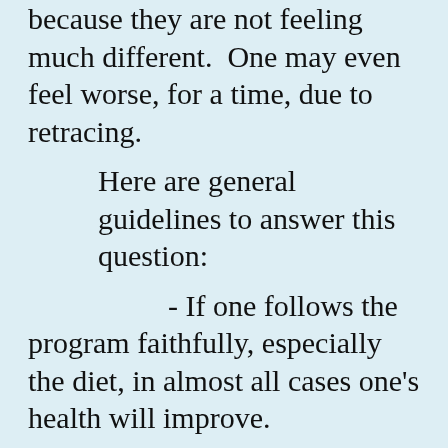because they are not feeling much different.  One may even feel worse, for a time, due to retracing.
Here are general guidelines to answer this question:
- If one follows the program faithfully, especially the diet, in almost all cases one's health will improve.
- An exception is if one has a serious chronic illness particularly cancer.  In this case, one may improve in some ways, but the program may not be